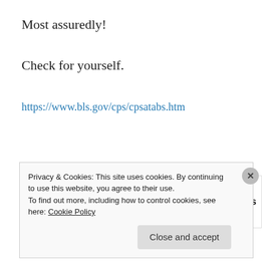Most assuredly!
Check for yourself.
https://www.bls.gov/cps/cpsatabs.htm
[Figure (other): Advertisement for Pocket Casts app with colorful quadrant logo and text 'The go-to app for podcast lovers.' with Pocket Casts logo and name.]
Privacy & Cookies: This site uses cookies. By continuing to use this website, you agree to their use.
To find out more, including how to control cookies, see here: Cookie Policy
Close and accept